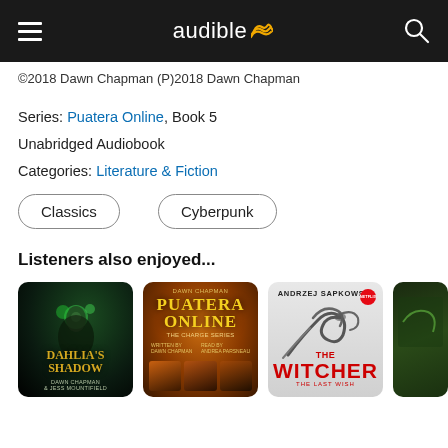audible
©2018 Dawn Chapman (P)2018 Dawn Chapman
Series: Puatera Online, Book 5
Unabridged Audiobook
Categories: Literature & Fiction
Classics
Cyberpunk
Listeners also enjoyed...
[Figure (photo): Book cover: Dahlia's Shadow by Dawn Chapman & Jess Mountifield]
[Figure (photo): Book cover: Puatera Online series collection]
[Figure (photo): Book cover: The Witcher - The Last Wish by Andrzej Sapkowski]
[Figure (photo): Partial book cover, partially cropped on right edge]